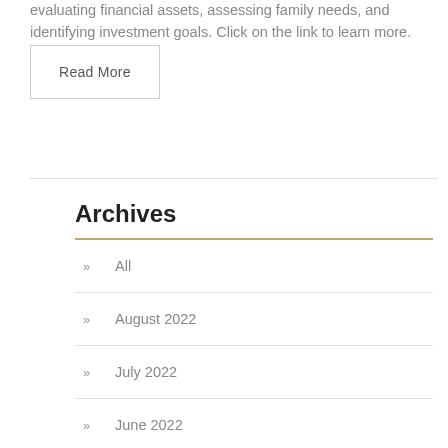evaluating financial assets, assessing family needs, and identifying investment goals. Click on the link to learn more.
Read More
Archives
All
August 2022
July 2022
June 2022